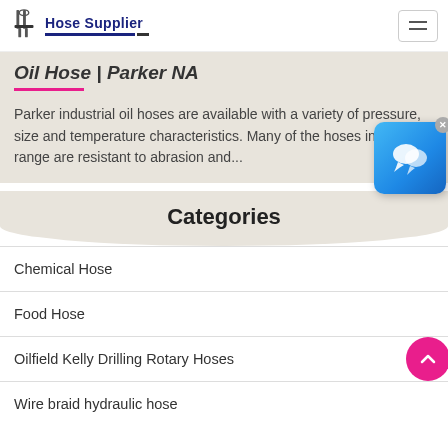Hose Supplier
Oil Hose | Parker NA
Parker industrial oil hoses are available with a variety of pressure, size and temperature characteristics. Many of the hoses in this range are resistant to abrasion and...
Categories
Chemical Hose
Food Hose
Oilfield Kelly Drilling Rotary Hoses
Wire braid hydraulic hose